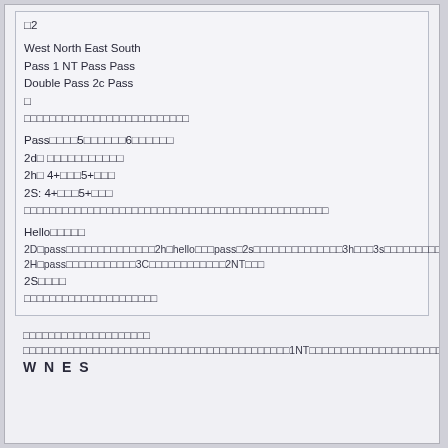□2
West North East South
Pass 1 NT Pass Pass
Double Pass 2c Pass
□
□□□□□□□□□□□□□□□□□□□□□□□□□□
Pass□□□□5□□□□□□6□□□□□□
2d□ □□□□□□□□□□□
2h□ 4+□□□5+□□□
2S: 4+□□□5+□□□
□□□□□□□□□□□□□□□□□□□□□□□□□□□□□□□□□□□□□□□□□□□□□□
Hello□□□□□
2D□pass□□□□□□□□□□□□□□2h□hello□□□pass□2s□□□□□□□□□□□□□□3h□□□3s□□□□□□□□□
2H□pass□□□□□□□□□□□3C□□□□□□□□□□□□2NT□□□
2S□□□□
□□□□□□□□□□□□□□□□□□□□□
□□□□□□□□□□□□□□□□□□□□
□□□□□□□□□□□□□□□□□□□□□□□□□□□□□□□□□□□□□□□□□□□□□□□□□□□□□1NT□□□□□□□□□□□□□□□□□□□□□□□□□□□□□□□□□□□□□□□□□□□
W N E S